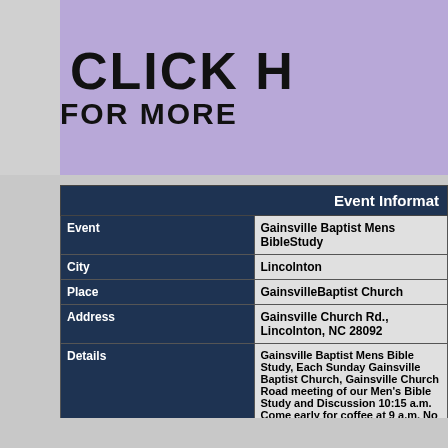[Figure (other): Partial banner image with purple background showing 'CLICK H FOR MORE' text in large bold black letters]
| Event Information |
| --- |
| Event | Gainsville Baptist Mens BibleStudy |
| City | Lincolnton |
| Place | GainsvilleBaptist Church |
| Address | Gainsville Church Rd., Lincolnton, NC 28092 |
| Details | Gainsville Baptist Mens Bible Study, Each Sunday Gainsville Baptist Church, Gainsville Church Road meeting of our Men's Bible Study and Discussion 10:15 a.m. Come early for coffee at 9 a.m. No suite |
| Start Date | Sunday, August 29, 2021 |
| Start Time | 9:00 AM |
| End Date | Sunday, September 26, 2021 |
| End Time | 10:15 AM |
| Additional Information | This event is set up on the Lincoln Herald Events Calendar to appear we sponsoring organization. Please contact them for any questions. |